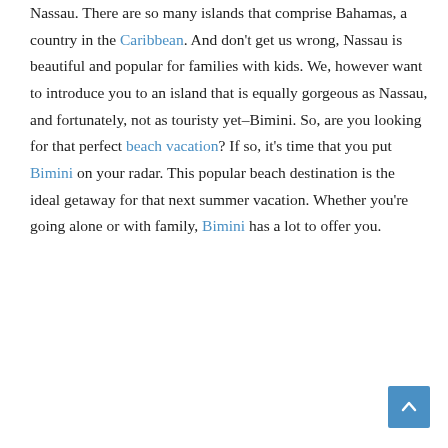Nassau. There are so many islands that comprise Bahamas, a country in the Caribbean. And don't get us wrong, Nassau is beautiful and popular for families with kids. We, however want to introduce you to an island that is equally gorgeous as Nassau, and fortunately, not as touristy yet–Bimini. So, are you looking for that perfect beach vacation? If so, it's time that you put Bimini on your radar. This popular beach destination is the ideal getaway for that next summer vacation. Whether you're going alone or with family, Bimini has a lot to offer you.